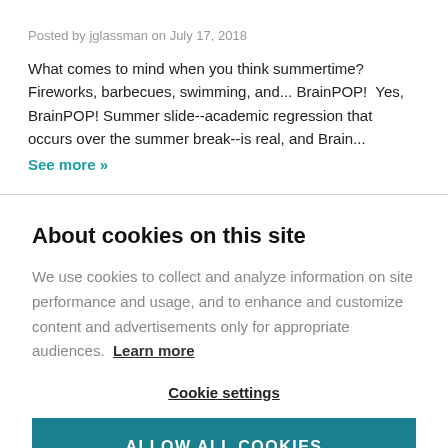Posted by jglassman on July 17, 2018
What comes to mind when you think summertime? Fireworks, barbecues, swimming, and... BrainPOP!  Yes, BrainPOP! Summer slide--academic regression that occurs over the summer break--is real, and Brain…
See more »
About cookies on this site
We use cookies to collect and analyze information on site performance and usage, and to enhance and customize content and advertisements only for appropriate audiences. Learn more
Cookie settings
ALLOW ALL COOKIES